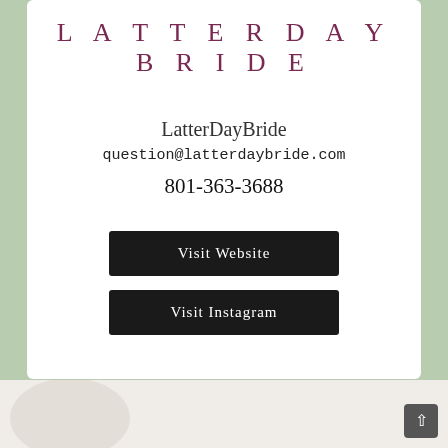[Figure (logo): LatterDayBride logo in dark purple/maroon letters, spaced uppercase serif font]
LatterDayBride
question@latterdaybride.com
801-363-3688
Visit Website
Visit Instagram